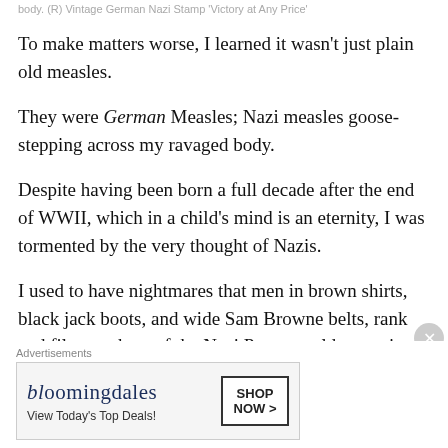body. (R) Vintage German Nazi Stamp  'Victory at Any Price'
To make matters worse, I learned it wasn't just plain old measles.
They were German Measles; Nazi measles goose-stepping across my ravaged body.
Despite having been born a full decade after the end of WWII, which in a child's mind is an eternity, I was tormented by the very thought of Nazis.
I used to have nightmares that men in brown shirts, black jack boots, and wide Sam Browne belts, rank and file members of the Nazi Party would storm into my suburban
Advertisements
[Figure (other): Bloomingdale's advertisement banner with logo, tagline 'View Today's Top Deals!' and 'SHOP NOW >' button, featuring a woman in a wide-brimmed hat.]